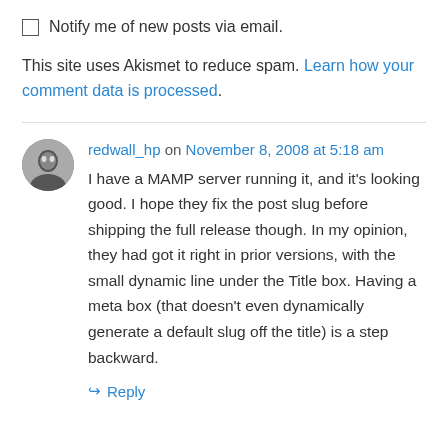Notify me of new posts via email.
This site uses Akismet to reduce spam. Learn how your comment data is processed.
redwall_hp on November 8, 2008 at 5:18 am
I have a MAMP server running it, and it's looking good. I hope they fix the post slug before shipping the full release though. In my opinion, they had got it right in prior versions, with the small dynamic line under the Title box. Having a meta box (that doesn't even dynamically generate a default slug off the title) is a step backward.
Reply